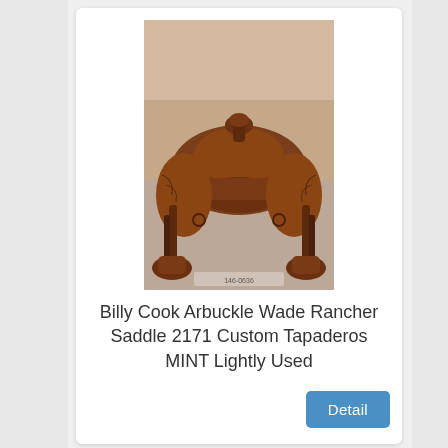[Figure (photo): Photo of a brown leather western saddle (Billy Cook Arbuckle Wade Rancher Saddle) with custom tapaderos, shown from the side with stirrups and straps visible.]
Billy Cook Arbuckle Wade Rancher Saddle 2171 Custom Tapaderos MINT Lightly Used
Detail